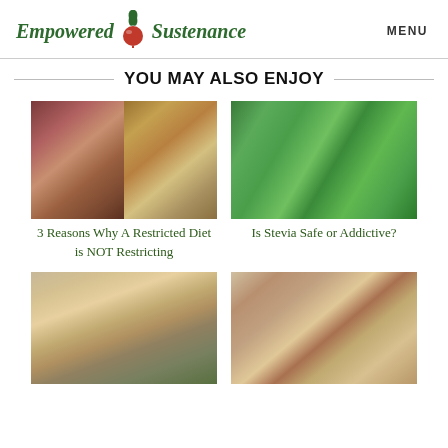Empowered Sustenance | MENU
YOU MAY ALSO ENJOY
[Figure (photo): Two photos side by side: woman cooking in kitchen on left, spices and ingredients on right]
3 Reasons Why A Restricted Diet is NOT Restricting
[Figure (photo): Close-up photo of green stevia plant leaves]
Is Stevia Safe or Addictive?
[Figure (photo): Smiling young woman outdoors with yellow flowers in background]
[Figure (photo): Food items on a tray including bottles, red apple, bowl with food, and cookies]